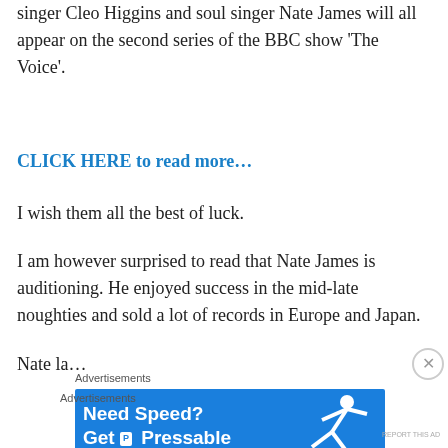singer Cleo Higgins and soul singer Nate James will all appear on the second series of the BBC show ‘The Voice’.
CLICK HERE to read more…
I wish them all the best of luck.
I am however surprised to read that Nate James is auditioning.  He enjoyed success in the mid-late noughties and sold a lot of records in Europe and Japan.
[Figure (other): Advertisement banner for Pressable hosting: blue background with text 'Need Speed? Get Pressable' and silhouette of a running person.]
Nate la...